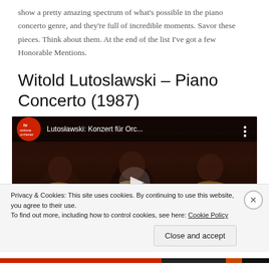show a pretty amazing spectrum of what's possible in the piano concerto genre, and they're full of incredible moments. Savor these pieces. Think about them. At the end of the list I've got a few Honorable Mentions.
Witold Lutoslawski – Piano Concerto (1987)
[Figure (screenshot): Embedded YouTube video thumbnail showing orchestra musicians playing brass instruments in a dark concert hall. Video title overlay reads 'Lutosławski: Konzert für Orc...' with hr sinfonieorchester logo on the left and a three-dot menu icon on the right. A play button is visible in the center.]
Privacy & Cookies: This site uses cookies. By continuing to use this website, you agree to their use.
To find out more, including how to control cookies, see here: Cookie Policy
Close and accept